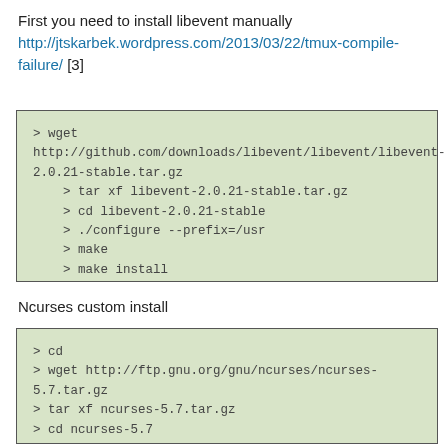First you need to install libevent manually http://jtskarbek.wordpress.com/2013/03/22/tmux-compile-failure/ [3]
> wget http://github.com/downloads/libevent/libevent/libevent-2.0.21-stable.tar.gz
    > tar xf libevent-2.0.21-stable.tar.gz
    > cd libevent-2.0.21-stable
    > ./configure --prefix=/usr
    > make
    > make install
Ncurses custom install
> cd
> wget http://ftp.gnu.org/gnu/ncurses/ncurses-5.7.tar.gz
> tar xf ncurses-5.7.tar.gz
> cd ncurses-5.7